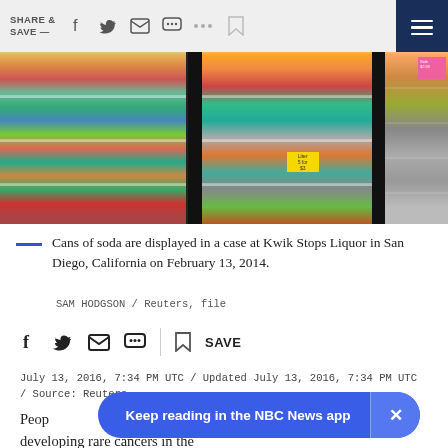SHARE & SAVE —
[Figure (photo): Cans and bottles of soda displayed in refrigerated cases and on shelves at a convenience store.]
Cans of soda are displayed in a case at Kwik Stops Liquor in San Diego, California on February 13, 2014.
SAM HODGSON / Reuters, file
July 13, 2016, 7:34 PM UTC / Updated July 13, 2016, 7:34 PM UTC / Source: Reuters
People who drink sugary beverages and diet beverages may have a higher risk of developing rare cancers in the